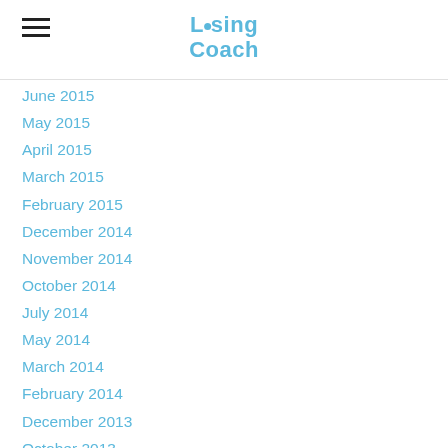Losing Coach
June 2015
May 2015
April 2015
March 2015
February 2015
December 2014
November 2014
October 2014
July 2014
May 2014
March 2014
February 2014
December 2013
October 2013
September 2013
August 2013
July 2013